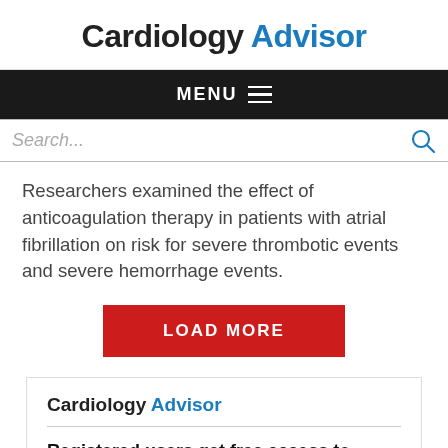Cardiology Advisor
MENU
Search...
Researchers examined the effect of anticoagulation therapy in patients with atrial fibrillation on risk for severe thrombotic events and severe hemorrhage events.
LOAD MORE
[Figure (logo): Cardiology Advisor logo inside promotional box]
Registered users get free access to premium features like:
A personalized onsite experience